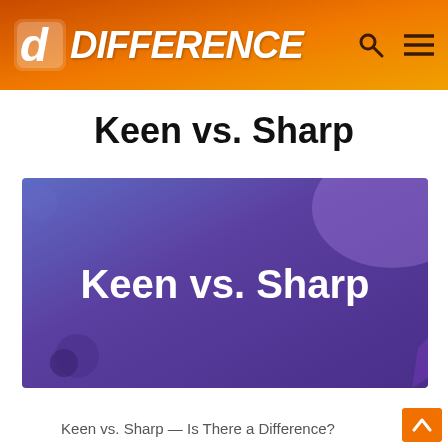DIFFERENCE
Keen vs. Sharp
[Figure (illustration): Purple gradient banner with text 'Keen vs. Sharp' in white bold font on a purple-to-dark-blue gradient background with decorative circular shapes in corners]
Keen vs. Sharp — Is There a Difference?